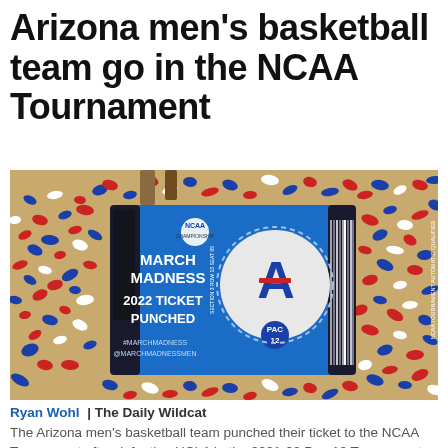Arizona men's basketball team go in the NCAA Tournament
[Figure (photo): A March Madness 2022 Ticket Punched sign with an Arizona Wildcats logo, surrounded by red, white and blue confetti on a basketball court floor.]
Ryan Wohl | The Daily Wildcat — The Arizona men's basketball team punched their ticket to the NCAA Tournament after defeating UCLA in the 2021-22 Pac-12 Tournament Championship on March 12.